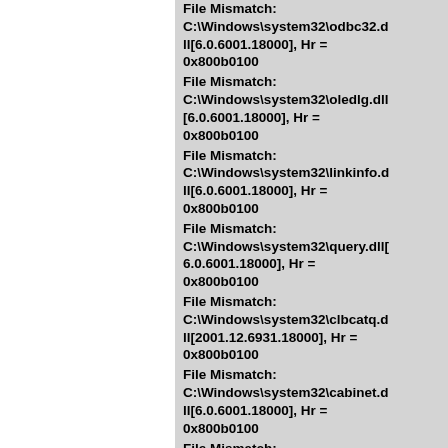File Mismatch: C:\Windows\system32\odbc32.dll[6.0.6001.18000], Hr = 0x800b0100
File Mismatch: C:\Windows\system32\oledlg.dll[6.0.6001.18000], Hr = 0x800b0100
File Mismatch: C:\Windows\system32\linkinfo.dll[6.0.6001.18000], Hr = 0x800b0100
File Mismatch: C:\Windows\system32\query.dll[6.0.6001.18000], Hr = 0x800b0100
File Mismatch: C:\Windows\system32\clbcatq.dll[2001.12.6931.18000], Hr = 0x800b0100
File Mismatch: C:\Windows\system32\cabinet.dll[6.0.6001.18000], Hr = 0x800b0100
File Mismatch: C:\Windows\system32\scecli.dll[6.0.6001.18000], Hr = 0x800b0100
File Mismatch: